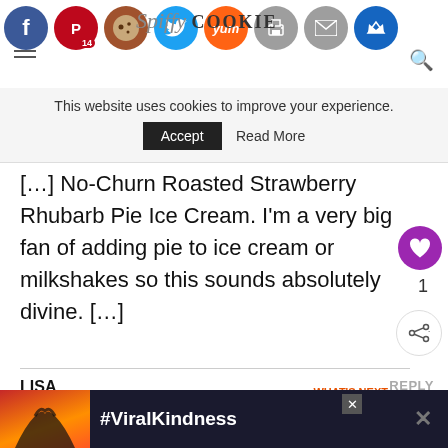Social sharing icons and Spiffy Cookie logo header
This website uses cookies to improve your experience.
Accept   Read More
[…] No-Churn Roasted Strawberry Rhubarb Pie Ice Cream. I'm a very big fan of adding pie to ice cream or milkshakes so this sounds absolutely divine. […]
LISA
June 16, 2015 - 5:01 pm
I love the sound of this ice cream! Even better that it's
WHAT'S NEXT → No-Churn Root Beer...
[Figure (infographic): #ViralKindness advertisement banner at bottom of page with heart shape hands silhouette]